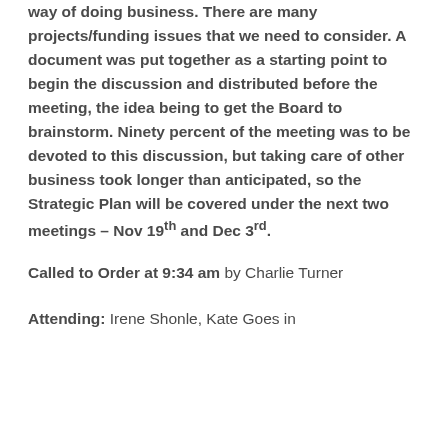way of doing business. There are many projects/funding issues that we need to consider. A document was put together as a starting point to begin the discussion and distributed before the meeting, the idea being to get the Board to brainstorm. Ninety percent of the meeting was to be devoted to this discussion, but taking care of other business took longer than anticipated, so the Strategic Plan will be covered under the next two meetings – Nov 19th and Dec 3rd.
Called to Order at 9:34 am by Charlie Turner
Attending: Irene Shonle, Kate Goes in